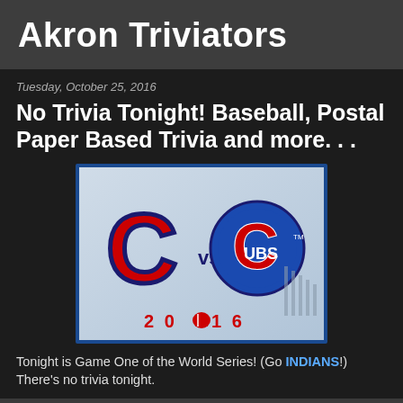Akron Triviators
Tuesday, October 25, 2016
No Trivia Tonight! Baseball, Postal Paper Based Trivia and more. . .
[Figure (illustration): Cleveland Indians C logo vs Chicago Cubs logo with '2016' text and MLB logo, World Series matchup graphic]
Tonight is Game One of the World Series! (Go INDIANS!) There's no trivia tonight.